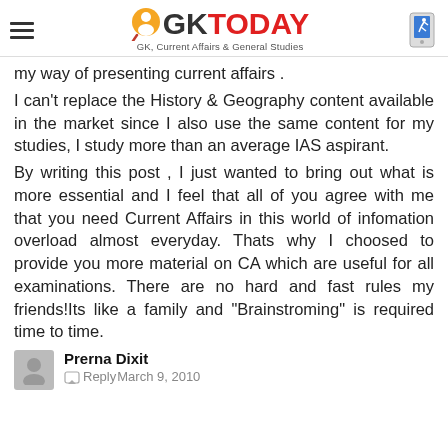GKToday - GK, Current Affairs & General Studies
my way of presenting current affairs .
I can't replace the History & Geography content available in the market since I also use the same content for my studies, I study more than an average IAS aspirant.
By writing this post , I just wanted to bring out what is more essential and I feel that all of you agree with me that you need Current Affairs in this world of infomation overload almost everyday. Thats why I choosed to provide you more material on CA which are useful for all examinations. There are no hard and fast rules my friends!Its like a family and "Brainstroming" is required time to time.
Prerna Dixit
Reply March 9, 2010